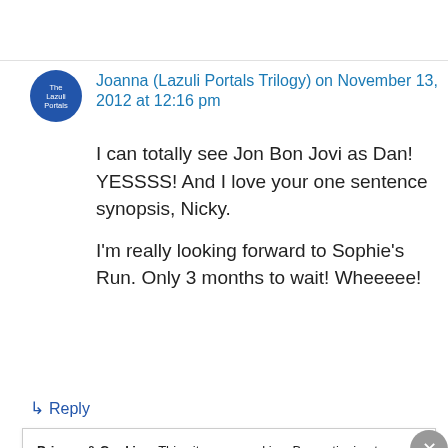Joanna (Lazuli Portals Trilogy) on November 13, 2012 at 12:16 pm
I can totally see Jon Bon Jovi as Dan! YESSSS! And I love your one sentence synopsis, Nicky.

I'm really looking forward to Sophie's Run. Only 3 months to wait! Wheeeee!
↳ Reply
Privacy & Cookies: This site uses cookies. By continuing to use this website, you agree to their use. To find out more, including how to control cookies, see here: Cookie Policy
Close and accept